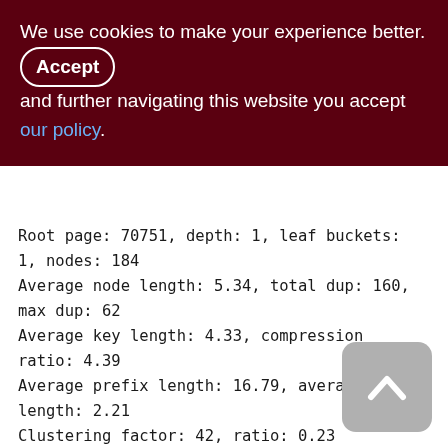We use cookies to make your experience better. By accepting and further navigating this website you accept our policy.
Root page: 70751, depth: 1, leaf buckets: 1, nodes: 184
Average node length: 5.34, total dup: 160, max dup: 62
Average key length: 4.33, compression ratio: 4.39
Average prefix length: 16.79, average data length: 2.21
Clustering factor: 42, ratio: 0.23
Fill distribution:
0 - 19% = 1
20 - 39% = 0
40 - 59% = 0